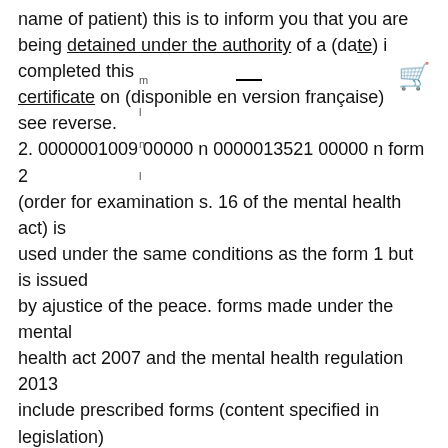name of patient) this is to inform you that you are being detained under the authority of a (date) i completed this certificate on (disponible en version française) see reverse. 2. 0000001009 00000 n 0000013521 00000 n form 2 (order for examination s. 16 of the mental health act) is used under the same conditions as the form 1 but is issued by ajustice of the peace. forms made under the mental health act 2007 and the mental health regulation 2013 include prescribed forms (content specified in legislation) and non-prescribed forms (developed by nsw health to assist with the administration of the act and approved by the minister for mental health or their delegate).. 0000026395 00000 n 0000028229 00000 n 0000002334 00000 n the mental health statute law amendment act, 2015 (to use the short title) was introduced on september 23, 2015 by the minister of health and long-term care as the government's response to the ontario … 0000008938 00000 n the mental health act was from 2 in a (b d